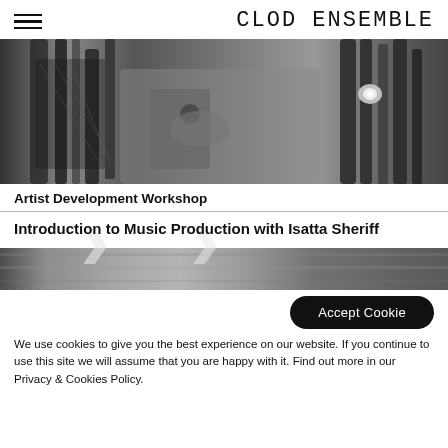CLOD ENSEMBLE
[Figure (photo): Black and white close-up photo of a person with braided hair holding a bag, wearing a white denim jacket with a jewel brooch]
Artist Development Workshop
Introduction to Music Production with Isatta Sheriff
[Figure (photo): Black and white blurred horizontal strip image, appears to be a background/decorative strip]
Accept Cookie
We use cookies to give you the best experience on our website. If you continue to use this site we will assume that you are happy with it. Find out more in our Privacy & Cookies Policy.